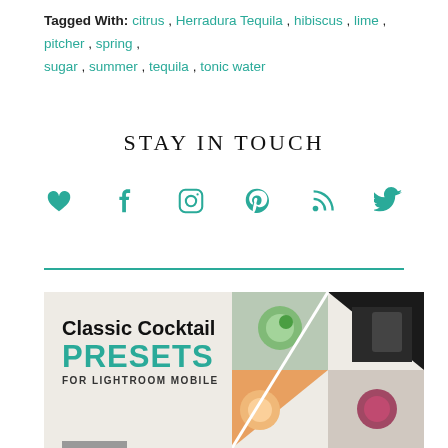Tagged With: citrus, Herradura Tequila, hibiscus, lime, pitcher, spring, sugar, summer, tequila, tonic water
STAY IN TOUCH
[Figure (infographic): Social media icons row: heart, Facebook, Instagram, Pinterest, RSS feed, Twitter — all in teal color]
[Figure (infographic): Classic Cocktail PRESETS FOR LIGHTROOM MOBILE advertisement banner with cocktail photos on right side]